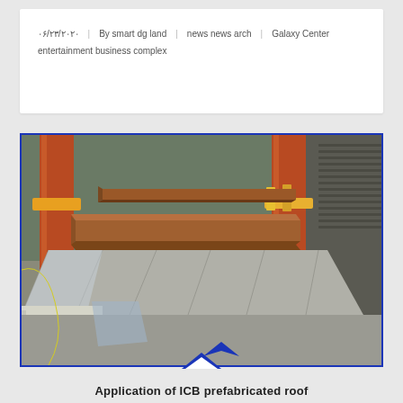۰۶/۲۳/۲۰۲۰  |  By smart dg land  |  news news arch  |  Galaxy Center entertainment business complex
[Figure (photo): Construction photo showing prefabricated roof panels with steel I-beams, orange support columns with orange and yellow clamps, and metal sheeting in an industrial/manufacturing setting.]
Application of ICB prefabricated roof